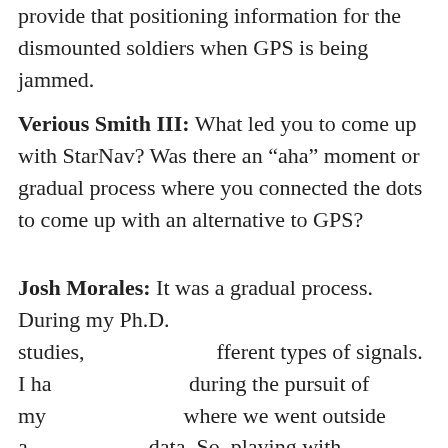provide that positioning information for the dismounted soldiers when GPS is being jammed.
Verious Smith III: What led you to come up with StarNav? Was there an “aha” moment or gradual process where you connected the dots to come up with an alternative to GPS?
Josh Morales: It was a gradual process. During my Ph.D. studies, [text obscured] different types of signals. I ha[text obscured] during the pursuit of my [text obscured] where we went outside a[text obscured] data. So, playing with th[text obscured]g real experiments w[text obscured]up my eyes to see that the[text obscured] the same
[Figure (screenshot): Modal popup overlay on dark background with close button (red circle with X), two input fields (Your Name, email@yourem), and a red Subscribe button]